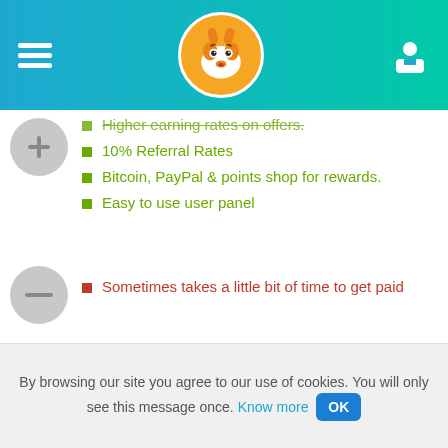FoxyRating header with navigation
Higher earning rates on offers.
10% Referral Rates
Bitcoin, PayPal & points shop for rewards.
Easy to use user panel
Sometimes takes a little bit of time to get paid
|  |  |
| --- | --- |
| Payments reported on FoxyRating | barcode icon |
| Payment Solutions | PayPal, Mastercard |
| Entry on FoxyRating | 4 years |
By browsing our site you agree to our use of cookies. You will only see this message once. Know more OK